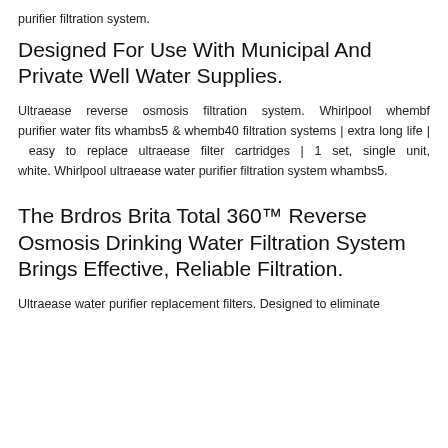purifier filtration system.
Designed For Use With Municipal And Private Well Water Supplies.
Ultraease reverse osmosis filtration system. Whirlpool whembf purifier water fits whambs5 & whemb40 filtration systems | extra long life | easy to replace ultraease filter cartridges | 1 set, single unit, white. Whirlpool ultraease water purifier filtration system whambs5.
The Brdros Brita Total 360™ Reverse Osmosis Drinking Water Filtration System Brings Effective, Reliable Filtration.
Ultraease water purifier replacement filters. Designed to eliminate